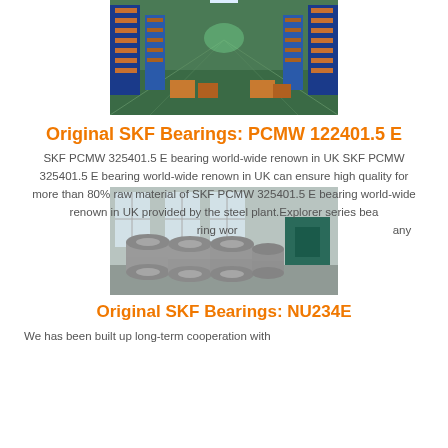[Figure (photo): Warehouse interior with shelving racks and stored goods]
Original SKF Bearings: PCMW 122401.5 E
SKF PCMW 325401.5 E bearing world-wide renown in UK SKF PCMW 325401.5 E bearing world-wide renown in UK can ensure high quality for more than 80% raw material of SKF PCMW 325401.5 E bearing world-wide renown in UK provided by the steel plant.Explorer series bearing world-wide renown in UK any
[Figure (photo): Factory or warehouse with stacked cylindrical metal parts/bearings]
Original SKF Bearings: NU234E
We has been built up long-term cooperation with